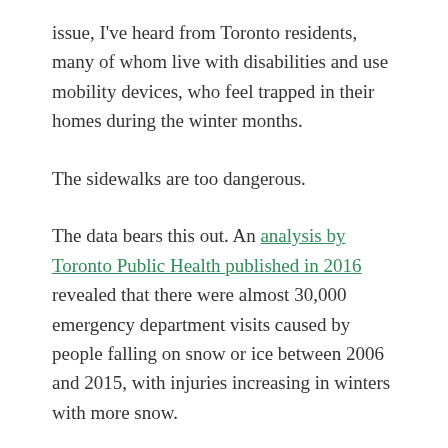issue, I've heard from Toronto residents, many of whom live with disabilities and use mobility devices, who feel trapped in their homes during the winter months.
The sidewalks are too dangerous.
The data bears this out. An analysis by Toronto Public Health published in 2016 revealed that there were almost 30,000 emergency department visits caused by people falling on snow or ice between 2006 and 2015, with injuries increasing in winters with more snow.
Injury rates were higher amongst seniors — one of Toronto's fastest growing demographics.